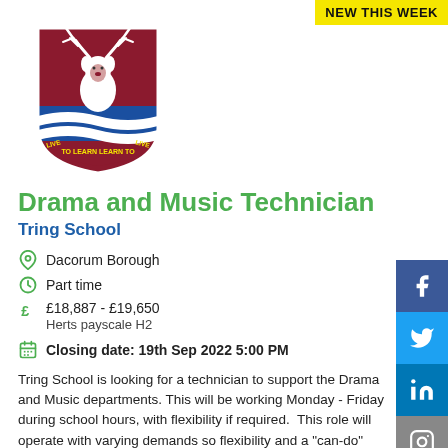[Figure (logo): Tring School crest/logo - shield with stag, blue waves, and motto 'LIVE TO LEARN LEARN TO LIVE']
NEW THIS WEEK
Drama and Music Technician
Tring School
Dacorum Borough
Part time
£18,887 - £19,650
Herts payscale H2
Closing date: 19th Sep 2022 5:00 PM
Tring School is looking for a technician to support the Drama and Music departments. This will be working Monday - Friday during school hours, with flexibility if required.  This role will operate with varying demands so flexibility and a "can-do"